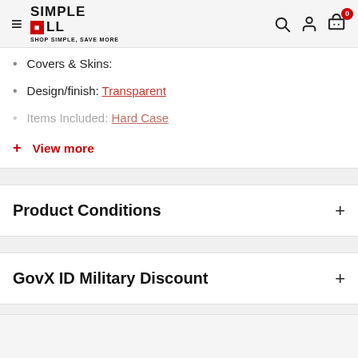Simple Cell — Shop Simple, Save More
Covers & Skins:
Design/finish: Transparent
Items Included: Hard Case
+ View more
Product Conditions
GovX ID Military Discount